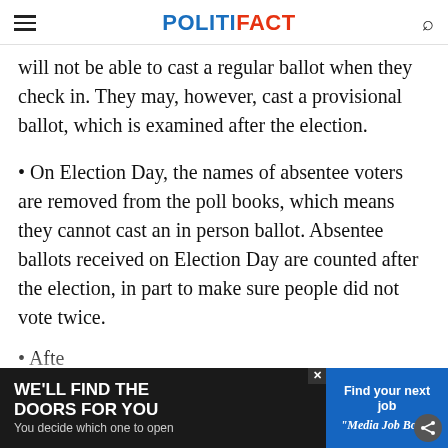POLITIFACT
will not be able to cast a regular ballot when they check in. They may, however, cast a provisional ballot, which is examined after the election.
• On Election Day, the names of absentee voters are removed from the poll books, which means they cannot cast an in person ballot. Absentee ballots received on Election Day are counted after the election, in part to make sure people did not vote twice.
• Afte ...